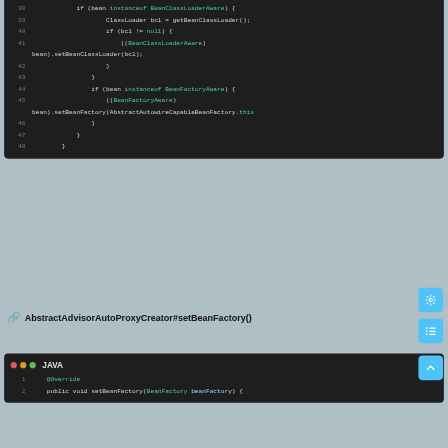[Figure (screenshot): Code editor screenshot showing Java code lines 38-48: BeanClassLoaderAware and BeanFactoryAware instanceof checks with setBeanClassLoader and setBeanFactory calls.]
AbstractAdvisorAutoProxyCreator#setBeanFactory()
[Figure (screenshot): Java code editor header with traffic light dots and JAVA label, showing lines 1: @Override and 2: public void setBeanFactory(BeanFactory beanFactory) {]